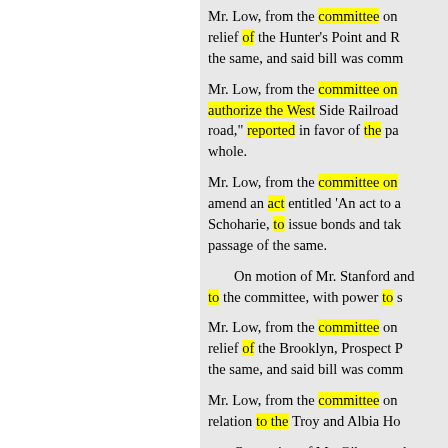Mr. Low, from the committee on relief of the Hunter's Point and R the same, and said bill was comm
Mr. Low, from the committee on authorize the West Side Railroad road," reported in favor of the pa whole.
Mr. Low, from the committee on amend an act entitled 'An act to a Schoharie, to issue bonds and tak passage of the same.
On motion of Mr. Stanford and to the committee, with power to s
Mr. Low, from the committee on relief of the Brooklyn, Prospect P the same, and said bill was comm
Mr. Low, from the committee on relation to the Troy and Albia Ho
On motion of Mr. Gibson and to the committee, with power to s
Mr. Low, from the committee on